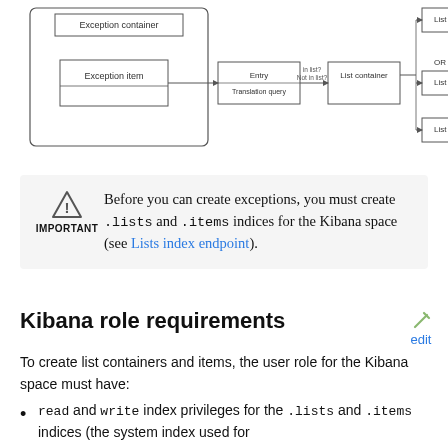[Figure (flowchart): Flowchart showing Exception container with Exception item, connected via Entry/Translation query to List container (in list? / Not in list?) which branches to List item, List item, List item with OR label]
Before you can create exceptions, you must create .lists and .items indices for the Kibana space (see Lists index endpoint).
Kibana role requirements
To create list containers and items, the user role for the Kibana space must have:
read and write index privileges for the .lists and .items indices (the system index used for